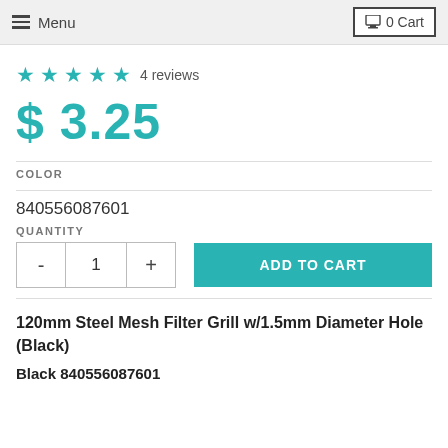Menu   0 Cart
★★★★★ 4 reviews
$ 3.25
COLOR
840556087601
QUANTITY
- 1 +   ADD TO CART
120mm Steel Mesh Filter Grill w/1.5mm Diameter Hole (Black)
Black 840556087601